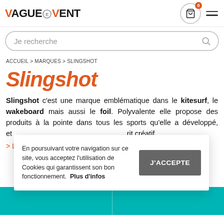Vague&Vent — header with logo, cart (0), menu
Je recherche
ACCUEIL > MARQUES > SLINGSHOT
Slingshot
Slingshot c'est une marque emblématique dans le kitesurf, le wakeboard mais aussi le foil. Polyvalente elle propose des produits à la pointe dans tous les spo[rts qu'elle a développé,] [et] crit cré[atifs...]
> LIRI[E PLUS]
En poursuivant votre navigation sur ce site, vous acceptez l'utilisation de Cookies qui garantissent son bon fonctionnement. Plus d'infos
J'ACCEPTE